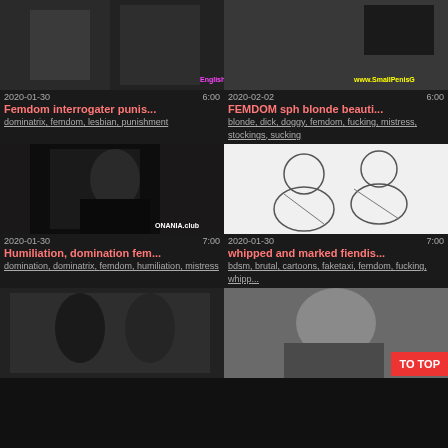[Figure (screenshot): Video thumbnail 1 - dark figure, English Tense watermark]
2020-01-30    6:00
Femdom interrogater punis...
dominatrix, femdom, lesbian, punishment
[Figure (screenshot): Video thumbnail 2 - SmallPenisG watermark]
2020-02-02    6:00
FEMDOM sph blonde beauti...
blonde, dick, doggy, femdom, fucking, mistress, stockings, sucking
[Figure (screenshot): Video thumbnail 3 - woman in latex dress, ONANIA.club watermark]
2020-01-30    7:00
Humiliation, domination fem...
domination, dominatrix, femdom, humiliation, mistress
[Figure (illustration): Video thumbnail 4 - black and white cartoon illustration]
2020-01-30    7:00
whipped and marked fiendis...
bdsm, brutal, cartoons, faketaxi, femdom, fucking, whipp...
[Figure (screenshot): Video thumbnail 5 - two women]
[Figure (screenshot): Video thumbnail 6 - blonde woman]